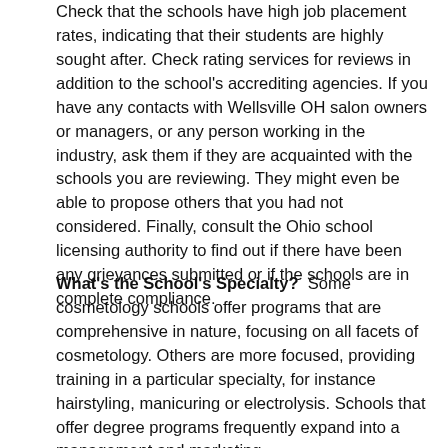Check that the schools have high job placement rates, indicating that their students are highly sought after. Check rating services for reviews in addition to the school's accrediting agencies. If you have any contacts with Wellsville OH salon owners or managers, or any person working in the industry, ask them if they are acquainted with the schools you are reviewing. They might even be able to propose others that you had not considered. Finally, consult the Ohio school licensing authority to find out if there have been any grievances submitted or if the schools are in complete compliance.
What's the School's Specialty? Some cosmetology schools offer programs that are comprehensive in nature, focusing on all facets of cosmetology. Others are more focused, providing training in a particular specialty, for instance hairstyling, manicuring or electrolysis. Schools that offer degree programs frequently expand into a management and marketing